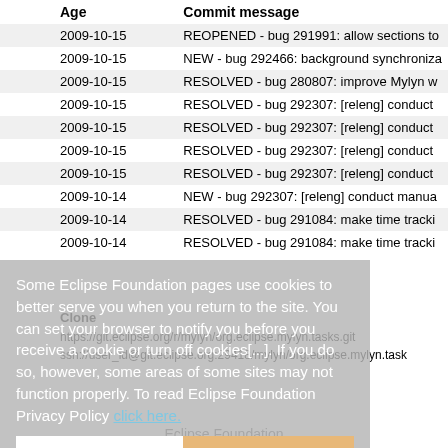| Age | Commit message |
| --- | --- |
| 2009-10-15 | REOPENED - bug 291991: allow sections to |
| 2009-10-15 | NEW - bug 292466: background synchroniza |
| 2009-10-15 | RESOLVED - bug 280807: improve Mylyn w |
| 2009-10-15 | RESOLVED - bug 292307: [releng] conduct |
| 2009-10-15 | RESOLVED - bug 292307: [releng] conduct |
| 2009-10-15 | RESOLVED - bug 292307: [releng] conduct |
| 2009-10-15 | RESOLVED - bug 292307: [releng] conduct |
| 2009-10-14 | NEW - bug 292307: [releng] conduct manua |
| 2009-10-14 | RESOLVED - bug 291084: make time tracki |
| 2009-10-14 | RESOLVED - bug 291084: make time tracki |
Some Eclipse Foundation pages use cookies to better serve you when you return to the site. You can set your browser to notify you before you receive a cookie or turn off cookies. If you do so, however, some areas of some sites may not function properly. To read Eclipse Foundation Privacy Policy click here.
Clone
https://git.eclipse.org/r/mylyn/org.eclipse.mylyn.tasks.git
ssh://user_id@git.eclipse.org:29418/mylyn/org.eclipse.mylyn.task
Decline
Allow cookies
Back to the top
Eclipse Foundation